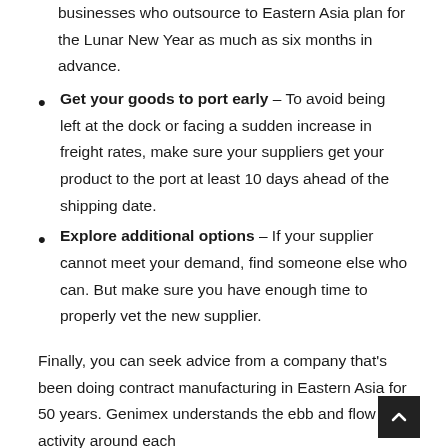businesses who outsource to Eastern Asia plan for the Lunar New Year as much as six months in advance.
Get your goods to port early – To avoid being left at the dock or facing a sudden increase in freight rates, make sure your suppliers get your product to the port at least 10 days ahead of the shipping date.
Explore additional options – If your supplier cannot meet your demand, find someone else who can. But make sure you have enough time to properly vet the new supplier.
Finally, you can seek advice from a company that's been doing contract manufacturing in Eastern Asia for 50 years. Genimex understands the ebb and flow of activity around each